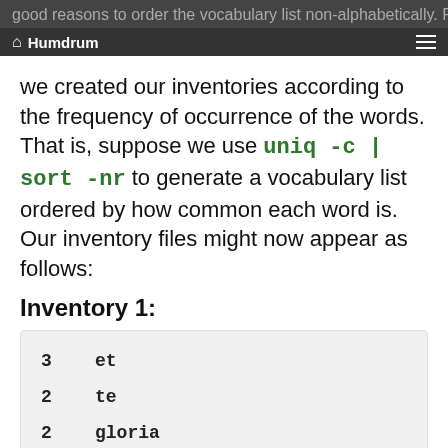good reasons to order the vocabulary list non-alphabetically. For example, suppose
Humdrum
we created our inventories according to the frequency of occurrence of the words. That is, suppose we use uniq -c | sort -nr to generate a vocabulary list ordered by how common each word is. Our inventory files might now appear as follows:
Inventory 1:
| count | word |
| --- | --- |
| 3 | et |
| 2 | te |
| 2 | gloria |
| 1 | videbitur |
| 1 | super |